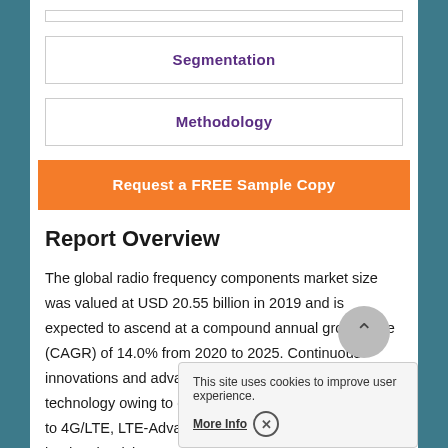Segmentation
Methodology
Request a FREE Sample Copy
Report Overview
The global radio frequency components market size was valued at USD 20.55 billion in 2019 and is expected to ascend at a compound annual growth rate (CAGR) of 14.0% from 2020 to 2025. Continuous innovations and advancements in mobile handset technology owing to continuing transition from 2G, 3G to 4G/LTE, LTE-Advanced, LTE-Advanced Pro, and 5G lead to the rising need for maximizing power efficiency of the mobile devices. This, in turn, increases demand for radio frequency components in the
This site uses cookies to improve user experience.
More Info